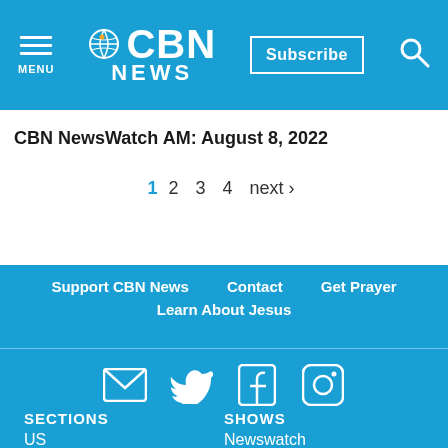CBN NEWS | Subscribe | Search
CBN NewsWatch AM: August 8, 2022
1 2 3 4 next ›
Support CBN News   Contact   Get Prayer
Learn About Jesus
[Figure (infographic): Social media icons: email, Twitter, Facebook, Instagram]
SECTIONS
US
World
SHOWS
Newswatch
Christian World News